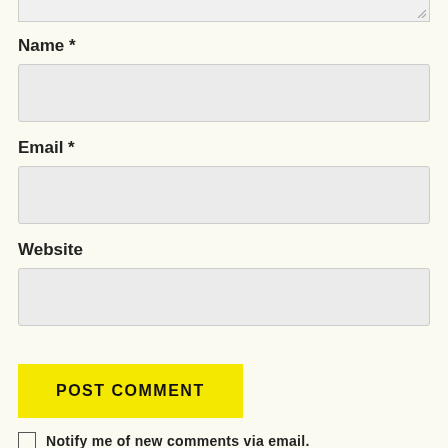Name *
[Figure (other): Empty text input field for Name]
Email *
[Figure (other): Empty text input field for Email]
Website
[Figure (other): Empty text input field for Website]
[Figure (other): POST COMMENT yellow button]
Notify me of new comments via email.
Notify me of new posts via email.